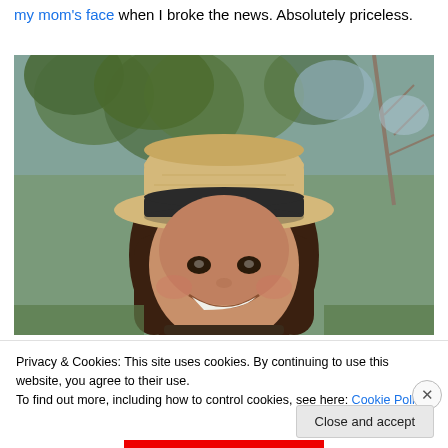my mom's face when I broke the news. Absolutely priceless.
[Figure (photo): A smiling woman with long brown hair wearing a tan/cream fedora hat with a dark band, photographed outdoors with blurred green trees in the background.]
Privacy & Cookies: This site uses cookies. By continuing to use this website, you agree to their use.
To find out more, including how to control cookies, see here: Cookie Policy
Close and accept